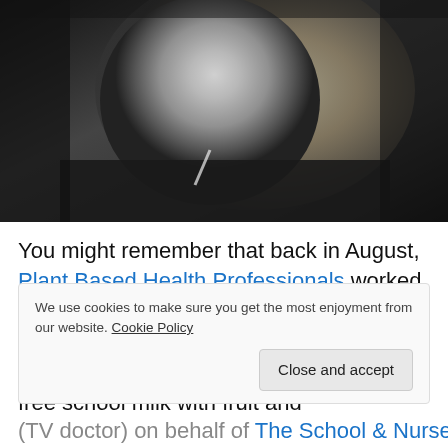[Figure (photo): Black and white photograph of a young blonde girl resting her chin on her hand, drinking through a straw from a small carton, looking slightly bored or pensive.]
You might remember that back in August, Plant Based Health Professionals worked on the World Plant Milk Day Campaign and did an interview with the Times newspaper calling for a replacement of free school milk with fruit and
We use cookies to make sure you get the most enjoyment from our website. Cookie Policy
(TV doctor) on behalf of The School & Nursery Milk